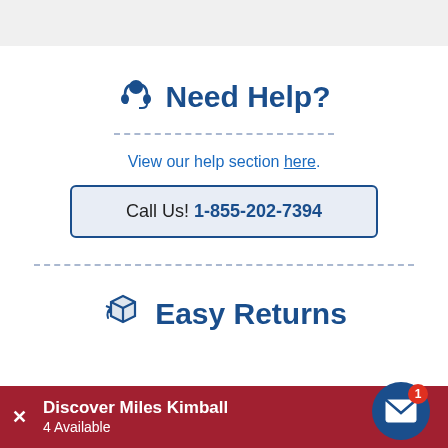Need Help?
View our help section here.
Call Us! 1-855-202-7394
Easy Returns
Discover Miles Kimball
4 Available